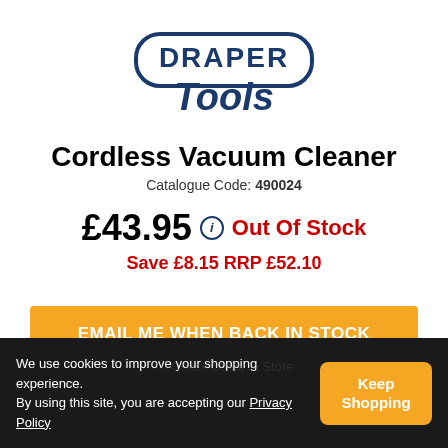[Figure (logo): Draper Tools logo — blue rounded rectangle with DRAPER in bold uppercase and Tools in italic below]
Cordless Vacuum Cleaner
Catalogue Code: 490024
£43.95  Out Of Stock
Save £8.15 RRP £52.10
EMAIL ME WHEN BACK IN STOCK
We use cookies to improve your shopping experience. By using this site, you are accepting our Privacy Policy
Keep Shopping